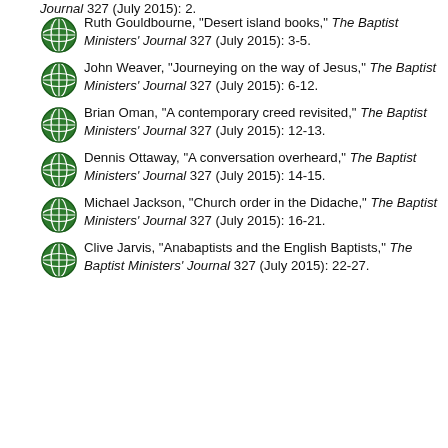Journal 327 (July 2015): 2.
Ruth Gouldbourne, "Desert island books," The Baptist Ministers' Journal 327 (July 2015): 3-5.
John Weaver, "Journeying on the way of Jesus," The Baptist Ministers' Journal 327 (July 2015): 6-12.
Brian Oman, "A contemporary creed revisited," The Baptist Ministers' Journal 327 (July 2015): 12-13.
Dennis Ottaway, "A conversation overheard," The Baptist Ministers' Journal 327 (July 2015): 14-15.
Michael Jackson, "Church order in the Didache," The Baptist Ministers' Journal 327 (July 2015): 16-21.
Clive Jarvis, "Anabaptists and the English Baptists," The Baptist Ministers' Journal 327 (July 2015): 22-27.